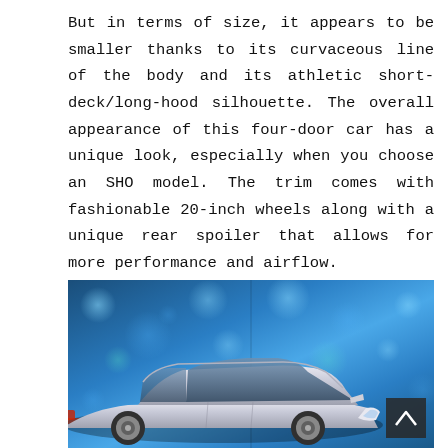But in terms of size, it appears to be smaller thanks to its curvaceous line of the body and its athletic short-deck/long-hood silhouette. The overall appearance of this four-door car has a unique look, especially when you choose an SHO model. The trim comes with fashionable 20-inch wheels along with a unique rear spoiler that allows for more performance and airflow.
[Figure (photo): A silver sedan car (Ford Taurus/SHO) displayed against a blue bokeh background with glowing light orbs. The car is shown from a front three-quarter angle. A dark scroll-to-top button with an upward chevron is visible in the bottom-right corner of the image.]